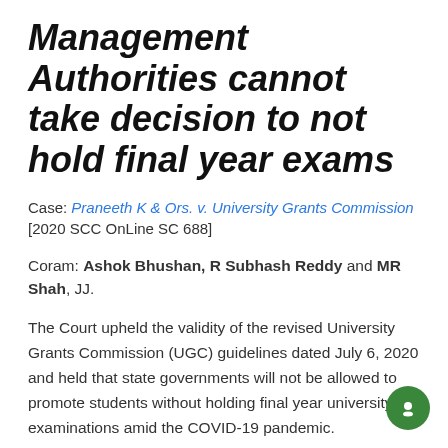Management Authorities cannot take decision to not hold final year exams
Case: Praneeth K & Ors. v. University Grants Commission [2020 SCC OnLine SC 688]
Coram: Ashok Bhushan, R Subhash Reddy and MR Shah, JJ.
The Court upheld the validity of the revised University Grants Commission (UGC) guidelines dated July 6, 2020 and held that state governments will not be allowed to promote students without holding final year university examinations amid the COVID-19 pandemic.